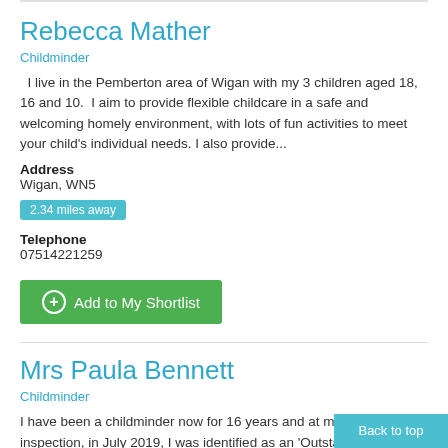Rebecca Mather
Childminder
I live in the Pemberton area of Wigan with my 3 children aged 18, 16 and 10.  I aim to provide flexible childcare in a safe and welcoming homely environment, with lots of fun activities to meet your child's individual needs. I also provide...
Address
Wigan, WN5
2.34 miles away
Telephone
07514221259
Add to My Shortlist
Mrs Paula Bennett
Childminder
I have been a childminder now for 16 years and at my last inspection, in July 2019, I was identified as an 'Outstanding' childcare provision. Before childminding I worked as a HLTA (higher level teaching assistant) at a local primary school for 10...
Back to top